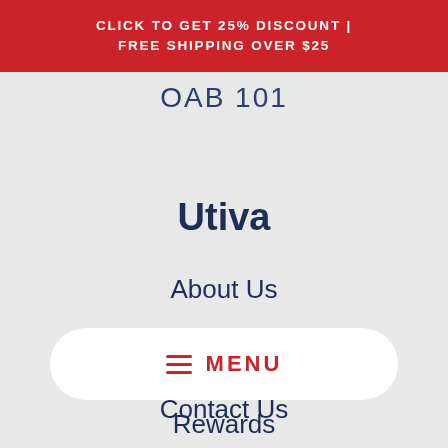CLICK TO GET 25% DISCOUNT | FREE SHIPPING OVER $25
OAB 101
Utiva
About Us
Why Utiva?
Contact Us
Support
≡ MENU
Rewards